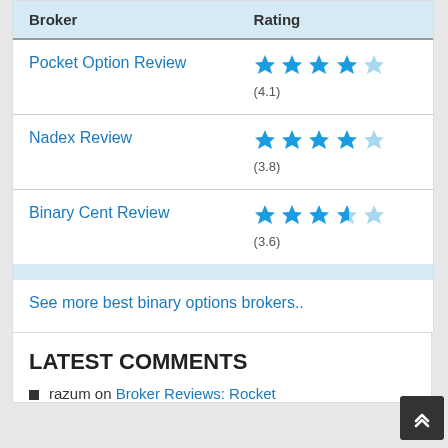| Broker | Rating |
| --- | --- |
| Pocket Option Review | ★★★★☆ (4.1) |
| Nadex Review | ★★★★☆ (3.8) |
| Binary Cent Review | ★★★½☆ (3.6) |
See more best binary options brokers..
LATEST COMMENTS
razum on Broker Reviews: Rocket…